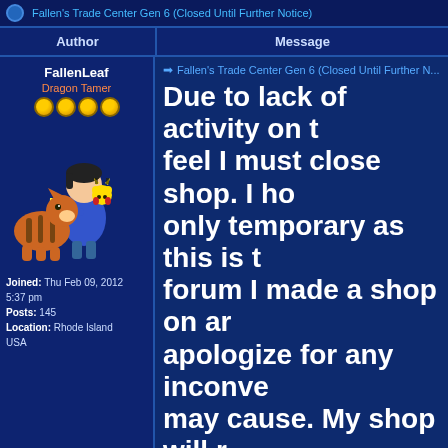Fallen's Trade Center Gen 6 (Closed Until Further Notice)
| Author | Message |
| --- | --- |
| FallenLeaf
Dragon Tamer
Joined: Thu Feb 09, 2012 5:37 pm
Posts: 145
Location: Rhode Island USA | Fallen's Trade Center Gen 6 (Closed Until Further Notice)
Due to lack of activity on this forum I feel I must close shop. I hope this is only temporary as this is the first forum I made a shop on and I apologize for any inconvenience this may cause. My shop will remain active on Pokebeach if anyone needs to contact me/make a trade.

Friend Code: 4313-0591-6738
Time Zone: Eastern Standard Time
Times Available: Varies
Friend Safari Unova: Dark Type - Absol, Sneasel, Vulla...

Rules:
1. All pokemon traded must be legitimate. Clones via a cloning method and cheats will not be accepted. I will not trade any cheats knowing the same. |